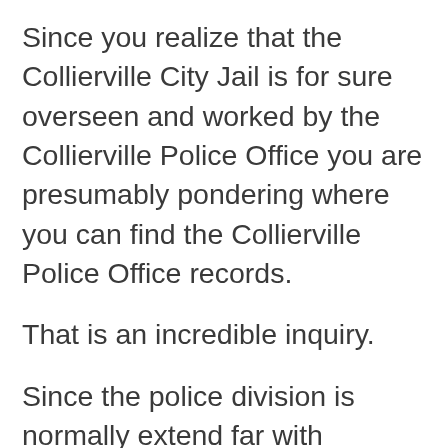Since you realize that the Collierville City Jail is for sure overseen and worked by the Collierville Police Office you are presumably pondering where you can find the Collierville Police Office records.
That is an incredible inquiry.
Since the police division is normally extend far with watching the city, running the police office, and running the Collierville City Jail they don't have the opportunity to have their